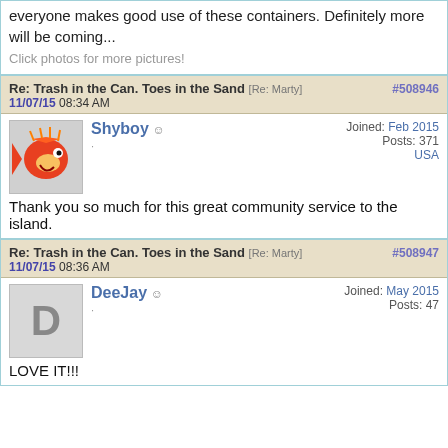everyone makes good use of these containers. Definitely more will be coming...
Click photos for more pictures!
Re: Trash in the Can. Toes in the Sand [Re: Marty] #508946
11/07/15 08:34 AM
Shyboy
Joined: Feb 2015
Posts: 371
USA
Thank you so much for this great community service to the island.
Re: Trash in the Can. Toes in the Sand [Re: Marty] #508947
11/07/15 08:36 AM
DeeJay
Joined: May 2015
Posts: 47
LOVE IT!!!